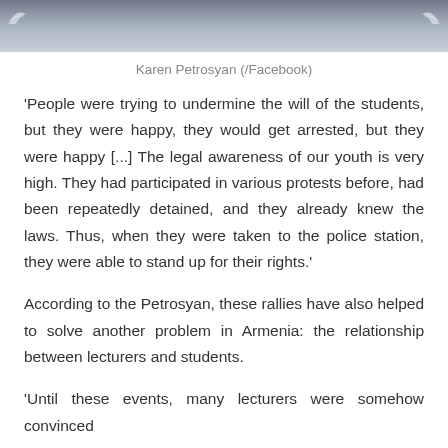[Figure (photo): Partial photo of a person at top of page, cropped, with decorative wing/bird motifs on left and right sides of a dark banner strip]
Karen Petrosyan (/Facebook)
'People were trying to undermine the will of the students, but they were happy, they would get arrested, but they were happy [...] The legal awareness of our youth is very high. They had participated in various protests before, had been repeatedly detained, and they already knew the laws. Thus, when they were taken to the police station, they were able to stand up for their rights.'
According to the Petrosyan, these rallies have also helped to solve another problem in Armenia: the relationship between lecturers and students.
'Until these events, many lecturers were somehow convinced